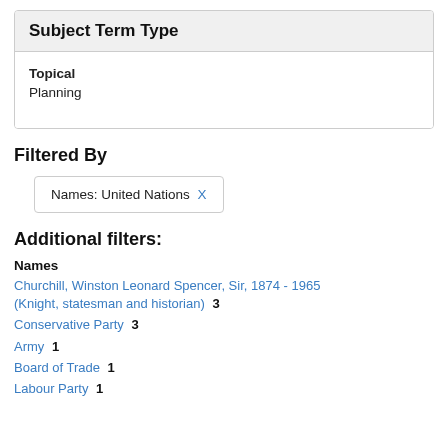Subject Term Type
Topical
Planning
Filtered By
Names: United Nations X
Additional filters:
Names
Churchill, Winston Leonard Spencer, Sir, 1874 - 1965 (Knight, statesman and historian) 3
Conservative Party 3
Army 1
Board of Trade 1
Labour Party 1